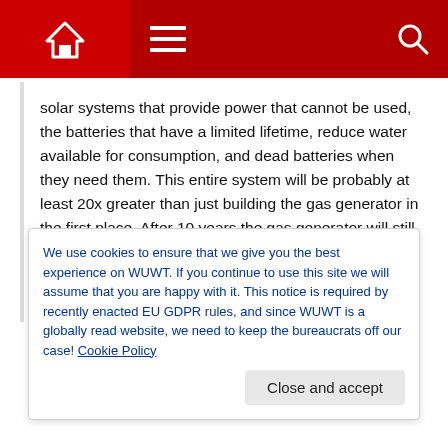Navigation bar with home, menu, and search icons
solar systems that provide power that cannot be used, the batteries that have a limited lifetime, reduce water available for consumption, and dead batteries when they need them. This entire system will be probably at least 20x greater than just building the gas generator in the first place. After 10 years the gas generator will still be running, the other systems will need to replaced, except for possibly the pumped storage which isn't an option anyway since there is no water.
+ 35 −
We use cookies to ensure that we give you the best experience on WUWT. If you continue to use this site we will assume that you are happy with it. This notice is required by recently enacted EU GDPR rules, and since WUWT is a globally read website, we need to keep the bureaucrats off our case! Cookie Policy
Close and accept